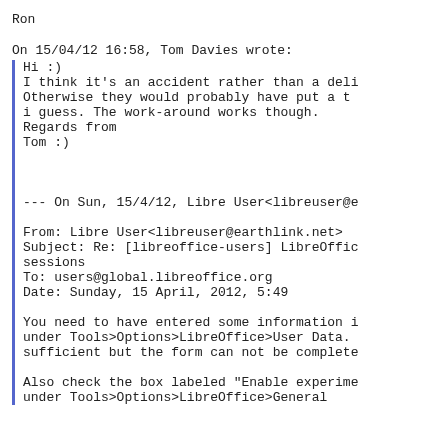Ron
On 15/04/12 16:58, Tom Davies wrote:
Hi :)
I think it's an accident rather than a deli...
Otherwise they would probably have put a t...
i guess. The work-around works though.
Regards from
Tom :)


--- On Sun, 15/4/12, Libre User<libreuser@e...

From: Libre User<libreuser@earthlink.net>
Subject: Re: [libreoffice-users] LibreOffic... sessions
To: users@global.libreoffice.org
Date: Sunday, 15 April, 2012, 5:49

You need to have entered some information i... under Tools>Options>LibreOffice>User Data. sufficient but the form can not be complete...

Also check the box labeled "Enable experime... under Tools>Options>LibreOffice>General